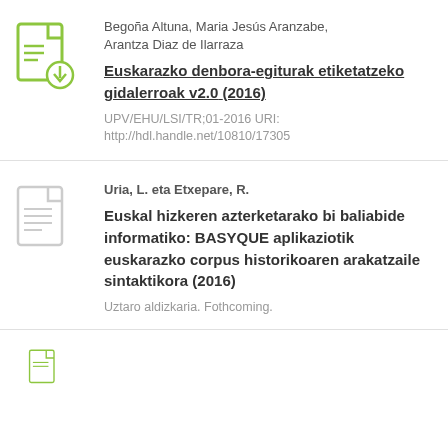[Figure (illustration): Document icon with green download arrow, representing a downloadable file]
Begoña Altuna, Maria Jesús Aranzabe, Arantza Diaz de Ilarraza
Euskarazko denbora-egiturak etiketatzeko gidalerroak v2.0 (2016)
UPV/EHU/LSI/TR;01-2016 URI: http://hdl.handle.net/10810/17305
[Figure (illustration): Gray document/page icon representing a publication]
Uria, L. eta Etxepare, R.
Euskal hizkeren azterketarako bi baliabide informatiko: BASYQUE aplikaziotik euskarazko corpus historikoaren arakatzaile sintaktikora (2016)
Uztaro aldizkaria. Fothcoming.
[Figure (illustration): Partially visible green document icon at bottom of page]